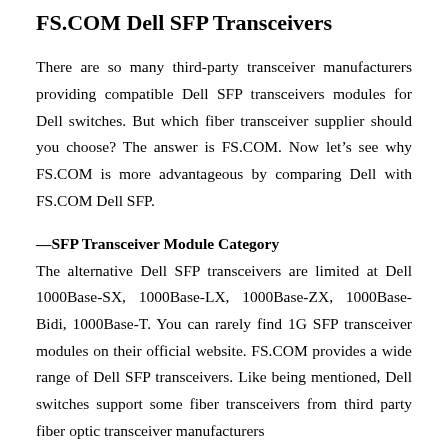FS.COM Dell SFP Transceivers
There are so many third-party transceiver manufacturers providing compatible Dell SFP transceivers modules for Dell switches. But which fiber transceiver supplier should you choose? The answer is FS.COM. Now let's see why FS.COM is more advantageous by comparing Dell with FS.COM Dell SFP.
—SFP Transceiver Module Category
The alternative Dell SFP transceivers are limited at Dell 1000Base-SX, 1000Base-LX, 1000Base-ZX, 1000Base-Bidi, 1000Base-T. You can rarely find 1G SFP transceiver modules on their official website. FS.COM provides a wide range of Dell SFP transceivers. Like being mentioned, Dell switches support some fiber transceivers from third party fiber optic transceiver manufacturers